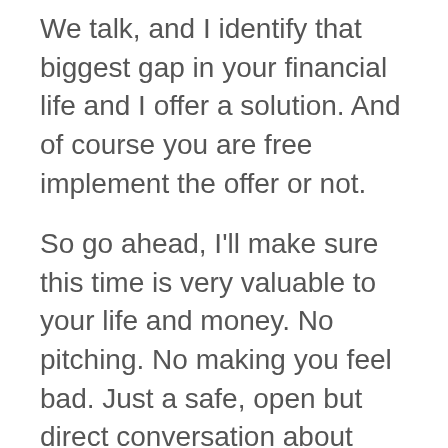We talk, and I identify that biggest gap in your financial life and I offer a solution. And of course you are free implement the offer or not.
So go ahead, I'll make sure this time is very valuable to your life and money. No pitching. No making you feel bad. Just a safe, open but direct conversation about what your money is trying to tell you.